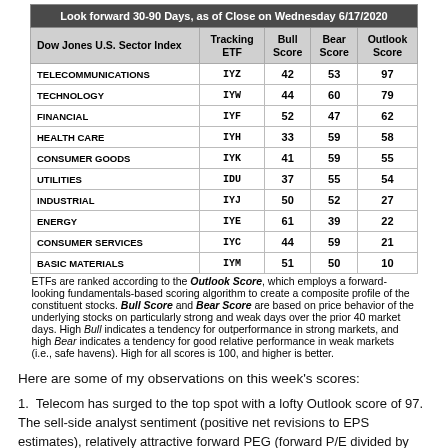| Dow Jones U.S. Sector Index | Tracking ETF | Bull Score | Bear Score | Outlook Score |
| --- | --- | --- | --- | --- |
| TELECOMMUNICATIONS | IYZ | 42 | 53 | 97 |
| TECHNOLOGY | IYW | 44 | 60 | 79 |
| FINANCIAL | IYF | 52 | 47 | 62 |
| HEALTH CARE | IYH | 33 | 59 | 58 |
| CONSUMER GOODS | IYK | 41 | 59 | 55 |
| UTILITIES | IDU | 37 | 55 | 54 |
| INDUSTRIAL | IYJ | 50 | 52 | 27 |
| ENERGY | IYE | 61 | 39 | 22 |
| CONSUMER SERVICES | IYC | 44 | 59 | 21 |
| BASIC MATERIALS | IYM | 51 | 50 | 10 |
ETFs are ranked according to the Outlook Score, which employs a forward-looking fundamentals-based scoring algorithm to create a composite profile of the constituent stocks. Bull Score and Bear Score are based on price behavior of the underlying stocks on particularly strong and weak days over the prior 40 market days. High Bull indicates a tendency for outperformance in strong markets, and high Bear indicates a tendency for good relative performance in weak markets (i.e., safe havens). High for all scores is 100, and higher is better.
Here are some of my observations on this week's scores:
1.  Telecom has surged to the top spot with a lofty Outlook score of 97. The sell-side analyst sentiment (positive net revisions to EPS estimates), relatively attractive forward PEG (forward P/E divided by projected growth ratios, and good insider sentiment (open market buying). However, its GA